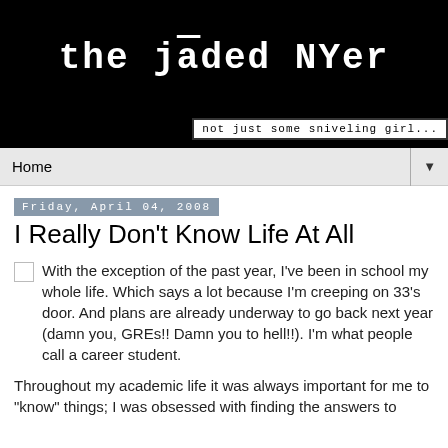the jaded NYer
not just some sniveling girl...
Home
Friday, April 04, 2008
I Really Don't Know Life At All
With the exception of the past year, I've been in school my whole life. Which says a lot because I'm creeping on 33's door. And plans are already underway to go back next year (damn you, GREs!! Damn you to hell!!). I'm what people call a career student.
Throughout my academic life it was always important for me to "know" things; I was obsessed with finding the answers to